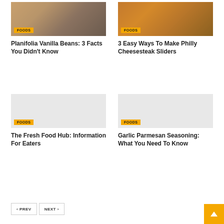[Figure (photo): Photo of vanilla beans and vanilla sugar in a bowl]
FOODS
Planifolia Vanilla Beans: 3 Facts You Didn't Know
[Figure (photo): Photo of Philly cheesesteak sliders]
FOODS
3 Easy Ways To Make Philly Cheesesteak Sliders
[Figure (photo): Placeholder image for Fresh Food Hub article]
FOODS
The Fresh Food Hub: Information For Eaters
[Figure (photo): Placeholder image for Garlic Parmesan Seasoning article]
FOODS
Garlic Parmesan Seasoning: What You Need To Know
‹ PREV
NEXT ›